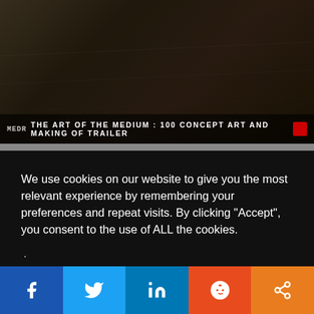[Figure (screenshot): Dark cinematic concept art image with title overlay: THE ART OF THE MEDIUM : 100 CONCEPT ART AND MAKING OF TRAILER]
THE ART OF THE MEDIUM : 100 CONCEPT ART AND MAKING OF TRAILER
We use cookies on our website to give you the most relevant experience by remembering your preferences and repeat visits. By clicking "Accept", you consent to the use of ALL the cookies.
.
Cookie Settings    Accept
[Figure (screenshot): Dark cinematic image showing VFX skateboarding promo with title: VFX : YUTO HORIGOME OLYMPICS PROMO – DIRECTOR'S CUT]
VFX : YUTO HORIGOME OLYMPICS PROMO – DIRECTOR'S CUT
[Figure (infographic): Social share bar with Facebook, Twitter, LinkedIn, Reddit, and share icons]